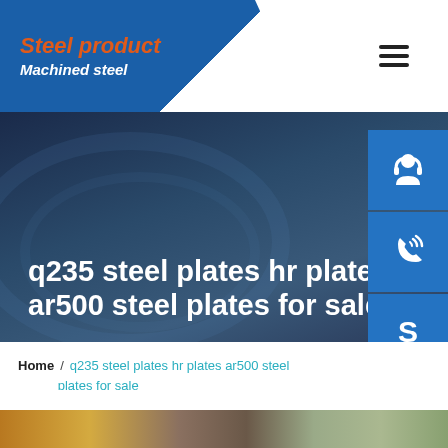Steel product / Machined steel
q235 steel plates hr plates ar500 steel plates for sale
[Figure (illustration): Three blue sidebar icons: customer support (headset/person), phone with signal waves, and Skype logo]
Home / q235 steel plates hr plates ar500 steel plates for sale
[Figure (photo): Industrial machinery photo at the bottom of the page, showing yellow/orange heavy equipment]